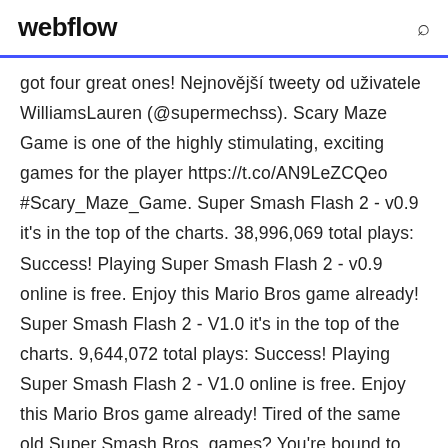webflow
got four great ones! Nejnovější tweety od uživatele WilliamsLauren (@supermechss). Scary Maze Game is one of the highly stimulating, exciting games for the player https://t.co/AN9LeZCQeo #Scary_Maze_Game. Super Smash Flash 2 - v0.9 it's in the top of the charts. 38,996,069 total plays: Success! Playing Super Smash Flash 2 - v0.9 online is free. Enjoy this Mario Bros game already! Super Smash Flash 2 - V1.0 it's in the top of the charts. 9,644,072 total plays: Success! Playing Super Smash Flash 2 - V1.0 online is free. Enjoy this Mario Bros game already! Tired of the same old Super Smash Bros. games? You're bound to find a substitute with one of these fighting